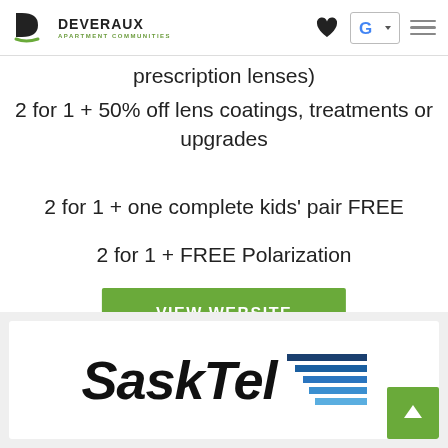Deveraux Apartment Communities — Navigation bar with logo, heart icon, Google icon, and hamburger menu
prescription lenses)
2 for 1 + 50% off lens coatings, treatments or upgrades
2 for 1 + one complete kids' pair FREE
2 for 1 + FREE Polarization
VIEW WEBSITE
[Figure (logo): SaskTel logo with wordmark in bold italic black and a blue horizontal-lines graphic element, with a green scroll-to-top button]